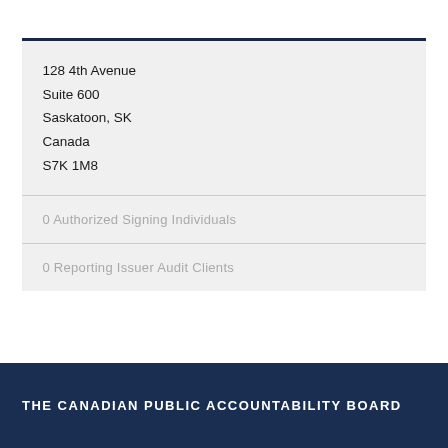128 4th Avenue
Suite 600
Saskatoon, SK
Canada
S7K 1M8
0 Authorized Signing Individuals
0 Reporting Issuer Audit Clients
THE CANADIAN PUBLIC ACCOUNTABILITY BOARD